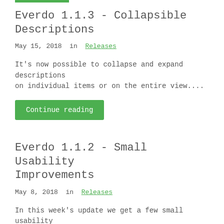Everdo 1.1.3 - Collapsible Descriptions
May 15, 2018  in  Releases
It's now possible to collapse and expand descriptions on individual items or on the entire view....
Continue reading
Everdo 1.1.2 - Small Usability Improvements
May 8, 2018  in  Releases
In this week's update we get a few small usability improvements....